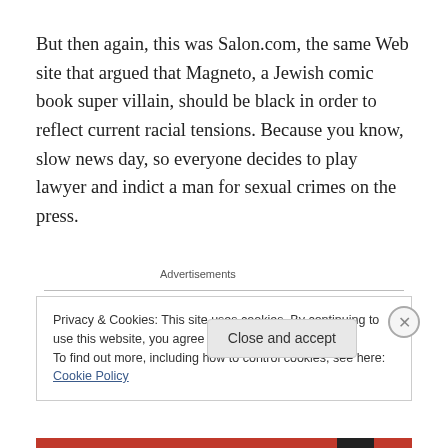But then again, this was Salon.com, the same Web site that argued that Magneto, a Jewish comic book super villain, should be black in order to reflect current racial tensions. Because you know, slow news day, so everyone decides to play lawyer and indict a man for sexual crimes on the press.
Advertisements
Privacy & Cookies: This site uses cookies. By continuing to use this website, you agree to their use.
To find out more, including how to control cookies, see here: Cookie Policy
Close and accept